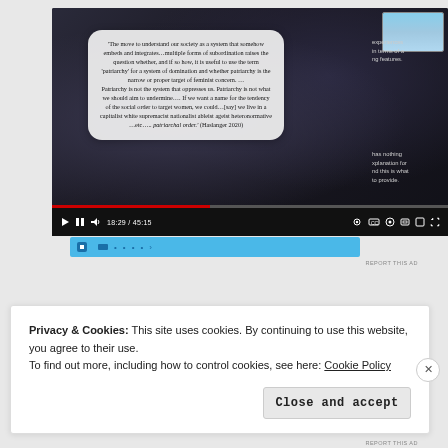[Figure (screenshot): YouTube video player screenshot showing a lecture/presentation at timestamp 18:29 / 45:15. A white rounded quote card displays a passage from Haslanger 2020 about patriarchy and feminist concern. A small thumbnail of the presenter is visible in the top-right corner.]
'The move to understand our society as a system that somehow embeds and integrates...multiple forms of subordination raises the question whether, and if so how, it is useful to use the term 'patriarchy' for a system of domination and whether patriarchy is the narrow or proper target of feminist concern. ... Patriarchy is not the system that oppresses us. Patriarchy is not what we should aim to undermine.... If we want a name for the tendency of the social order to target women, we could...[say] we live in a capitalist white supremacist nationalist ableist ageist heteronormative ...etc..... patriarchal order.' (Haslanger 2020)
Privacy & Cookies: This site uses cookies. By continuing to use this website, you agree to their use.
To find out more, including how to control cookies, see here: Cookie Policy
Close and accept